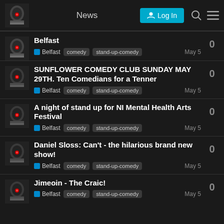News | Log In
Belfast | Belfast  comedy  stand-up-comedy  May 5 | 0
SUNFLOWER COMEDY CLUB SUNDAY MAY 29TH. Ten Comedians for a Tenner | Belfast  comedy  stand-up-comedy  May 5 | 0
A night of stand up for NI Mental Health Arts Festival | Belfast  comedy  stand-up-comedy  May 5 | 0
Daniel Sloss: Can't - the hilarious brand new show! | Belfast  comedy  stand-up-comedy  May 5 | 0
Jimeoin - The Craic! | Belfast  comedy  stand-up-comedy  May 5 | 0